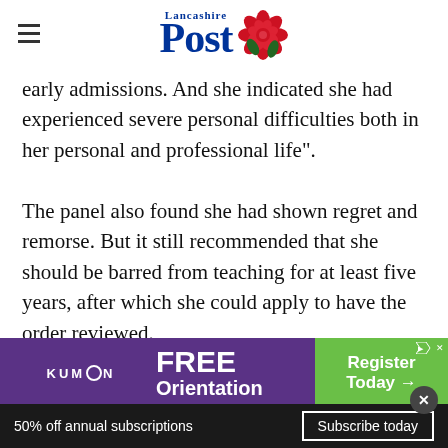Lancashire Post
early admissions. And she indicated she had experienced severe personal difficulties both in her personal and professional life".
The panel also found she had shown regret and remorse. But it still recommended that she should be barred from teaching for at least five years, after which she could apply to have the order reviewed.
[Figure (screenshot): Kumon FREE Orientation advertisement banner with green Register Today button]
Education Secretary Damian Hinds confirmed
50% off annual subscriptions
Subscribe today